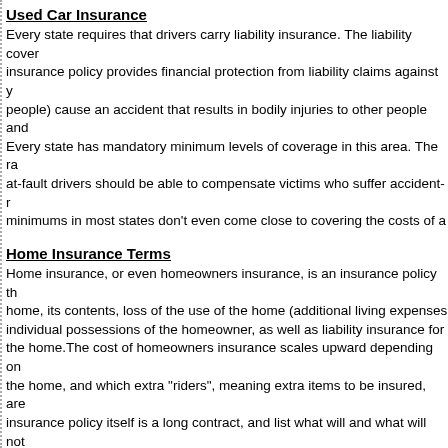Used Car Insurance
Every state requires that drivers carry liability insurance. The liability cover insurance policy provides financial protection from liability claims against y people) cause an accident that results in bodily injuries to other people and Every state has mandatory minimum levels of coverage in this area. The r at-fault drivers should be able to compensate victims who suffer accident-r minimums in most states don't even come close to covering the costs of a
Home Insurance Terms
Home insurance, or even homeowners insurance, is an insurance policy th home, its contents, loss of the use of the home (additional living expenses individual possessions of the homeowner, as well as liability insurance for the home.The cost of homeowners insurance scales upward depending or the home, and which extra "riders", meaning extra items to be insured, are insurance policy itself is a long contract, and list what will and what will not cases.Virtually all insurers charge less if it appears less likely the home wi destroyed: as an example, if the...(related: Insurance)
Useful Tips On Reducing Insurance Costs
Most people want lower insurance costs but are often too lazy to do anythi time and effort and you could be looking at a reduced insurance premium.h reducing insurance costs:Shop AroundAlthough it may sound an obvious t at how many people just renew their policy without comparing prices. It'll ta you a good sum of money.Check consumer guides, insurance agents and Ask friends what they are paying for their policies. This will give you an ide which companies have the lowest prices. But don't cons...(related: Insuran
Cheap Health Insurance Rates And Personal Health Insurance
If you've been out of school for a couple of years or perhaps just graduate